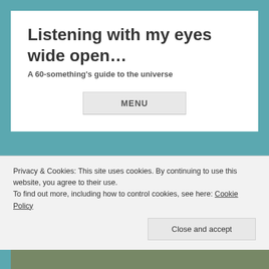Listening with my eyes wide open…
A 60-something's guide to the universe
MENU
[Figure (photo): Blue sky gradient photo, top portion of a road scene]
Privacy & Cookies: This site uses cookies. By continuing to use this website, you agree to their use.
To find out more, including how to control cookies, see here: Cookie Policy
Close and accept
[Figure (photo): Road scene at the bottom of the page]